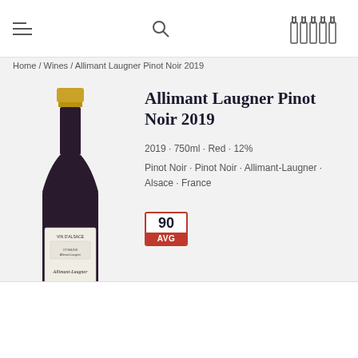≡  🔍  [bottles icon]
Home / Wines / Allimant Laugner Pinot Noir 2019
[Figure (photo): Wine bottle of Allimant Laugner Pinot Noir 2019, dark glass bottle with gold cap and white label showing estate building and cursive text 'PINOT NOIR']
Allimant Laugner Pinot Noir 2019
2019 · 750ml · Red · 12%
Pinot Noir · Pinot Noir · Allimant-Laugner · Alsace · France
90 AVG